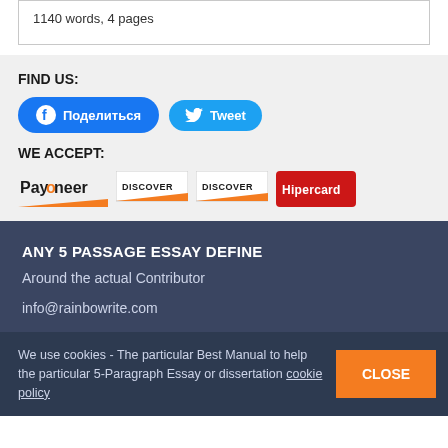1140 words, 4 pages
FIND US:
[Figure (other): Facebook 'Поделиться' (Share) button in blue, and Twitter 'Tweet' button in light blue]
WE ACCEPT:
[Figure (other): Payment logos: Payoneer, Discover (x2), Hipercard]
ANY 5 PASSAGE ESSAY DEFINE
Around the actual Contributor
info@rainbowrite.com
We use cookies - The particular Best Manual to help the particular 5-Paragraph Essay or dissertation cookie policy
CLOSE